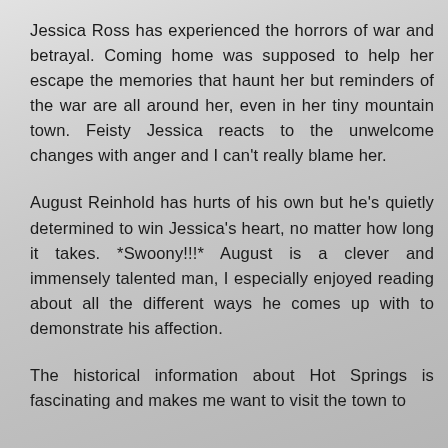Jessica Ross has experienced the horrors of war and betrayal. Coming home was supposed to help her escape the memories that haunt her but reminders of the war are all around her, even in her tiny mountain town. Feisty Jessica reacts to the unwelcome changes with anger and I can't really blame her.
August Reinhold has hurts of his own but he's quietly determined to win Jessica's heart, no matter how long it takes. *Swoony!!!* August is a clever and immensely talented man, I especially enjoyed reading about all the different ways he comes up with to demonstrate his affection.
The historical information about Hot Springs is fascinating and makes me want to visit the town to see it for myself.